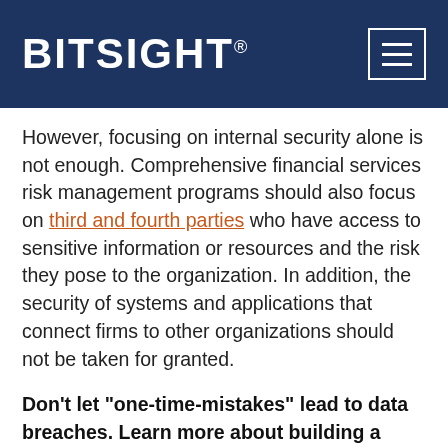BITSIGHT
However, focusing on internal security alone is not enough. Comprehensive financial services risk management programs should also focus on third and fourth parties who have access to sensitive information or resources and the risk they pose to the organization. In addition, the security of systems and applications that connect firms to other organizations should not be taken for granted.
Don’t let “one-time-mistakes” lead to data breaches. Learn more about building a cyber risk-aware culture in your organization.